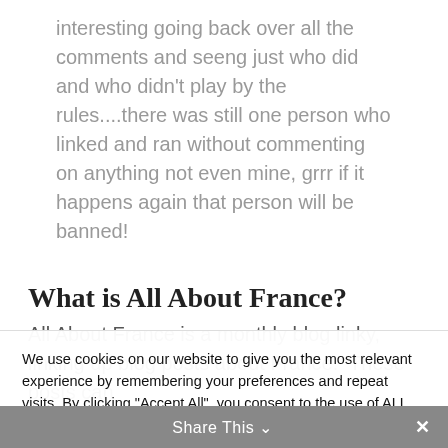interesting going back over all the comments and seeng just who did and who didn't play by the rules....there was still one person who linked and ran without commenting on anything not even mine, grrr if it happens again that person will be banned!
What is All About France?
All About France is a monthly blog linky, linking up blog posts about France.  These posts can
We use cookies on our website to give you the most relevant experience by remembering your preferences and repeat visits. By clicking "Accept All", you consent to the use of ALL the cookies. However, you may visit "Cookie Settings" to provide a controlled consent.
Cookie Settings | Accept All
Share This ∨ ✕